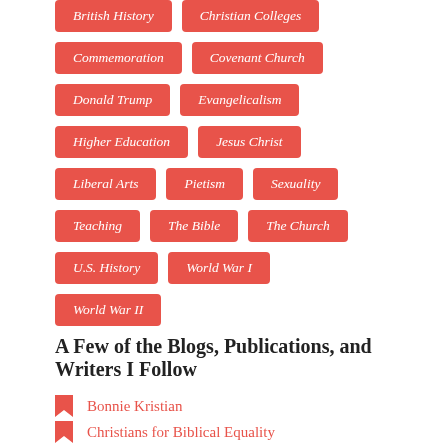British History
Christian Colleges
Commemoration
Covenant Church
Donald Trump
Evangelicalism
Higher Education
Jesus Christ
Liberal Arts
Pietism
Sexuality
Teaching
The Bible
The Church
U.S. History
World War I
World War II
A Few of the Blogs, Publications, and Writers I Follow
Bonnie Kristian
Christians for Biblical Equality